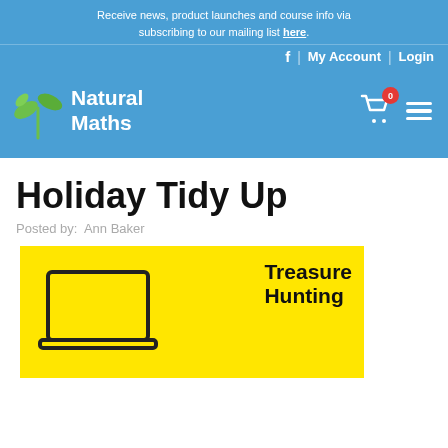Receive news, product launches and course info via subscribing to our mailing list here.
f | My Account | Login
Natural Maths
Holiday Tidy Up
Posted by:  Ann Baker
[Figure (illustration): Yellow background promotional image with laptop outline on left and 'Treasure Hunting' text on right]